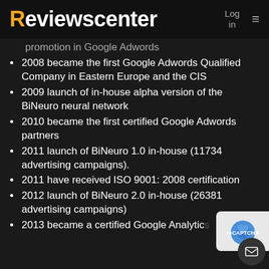Reviewscenter  Log in  ≡
promotion in Google Adwords
2008 became the first Google Adwords Qualified Company in Eastern Europe and the CIS
2009 launch of in-house alpha version of the BiNeuro neural network
2010 became the first certified Google Adwords partners
2011 launch of BiNeuro 1.0 in-house (11734 advertising campaigns).
2011 have received ISO 9001: 2008 certification
2012 launch of BiNeuro 2.0 in-house (26381 advertising campaigns)
2013 became a certified Google Analytics [truncated]